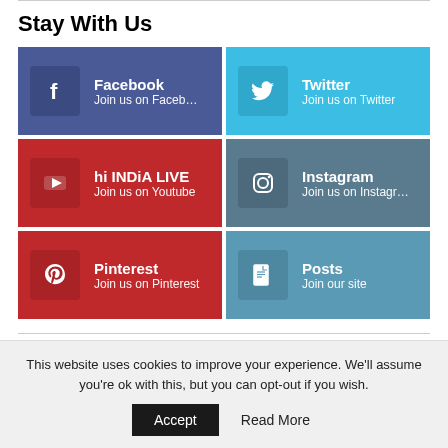Stay With Us
[Figure (infographic): Social media follow buttons grid: Facebook, Twitter, hi INDiA LIVE (YouTube), Instagram, Pinterest, Posts]
Share
This website uses cookies to improve your experience. We'll assume you're ok with this, but you can opt-out if you wish.
Accept   Read More